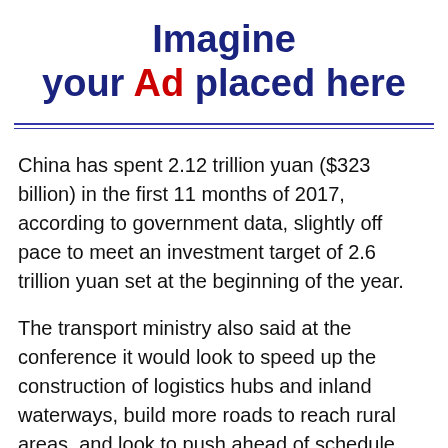Imagine your Ad placed here
China has spent 2.12 trillion yuan ($323 billion) in the first 11 months of 2017, according to government data, slightly off pace to meet an investment target of 2.6 trillion yuan set at the beginning of the year.
The transport ministry also said at the conference it would look to speed up the construction of logistics hubs and inland waterways, build more roads to reach rural areas, and look to push ahead of schedule projects such as the integration of Beijing, Hebei and